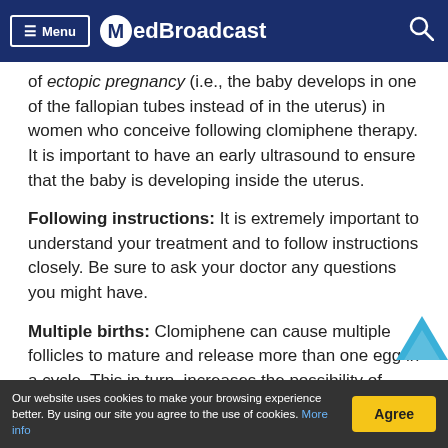Menu MedBroadcast
of ectopic pregnancy (i.e., the baby develops in one of the fallopian tubes instead of in the uterus) in women who conceive following clomiphene therapy. It is important to have an early ultrasound to ensure that the baby is developing inside the uterus.
Following instructions: It is extremely important to understand your treatment and to follow instructions closely. Be sure to ask your doctor any questions you might have.
Multiple births: Clomiphene can cause multiple follicles to mature and release more than one egg in a cycle. This in turn, increases the possibility of multiple births. The incidence of multiple pregnancy (includin
Our website uses cookies to make your browsing experience better. By using our site you agree to the use of cookies. More info  Agree